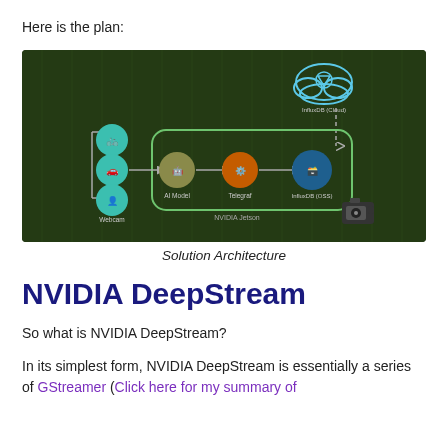Here is the plan:
[Figure (schematic): Solution Architecture diagram showing a dark green background with a pipeline: Webcam icons (bicycle, car, person) feeding into AI Model, then Telegraf, then InfluxDB (OSS), with a dashed arrow up to InfluxDB (Cloud). A camera device labeled NVIDIA Jetson sits at the bottom right. All contained inside a rounded green rectangle.]
Solution Architecture
NVIDIA DeepStream
So what is NVIDIA DeepStream?
In its simplest form, NVIDIA DeepStream is essentially a series of GStreamer (Click here for my summary of